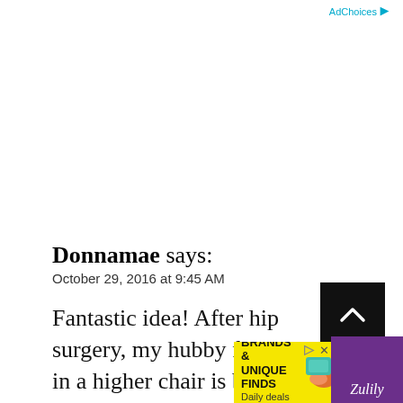AdChoices
Donnamae says:
October 29, 2016 at 9:45 AM
Fantastic idea! After hip surgery, my hubby finds sitting in a higher chair is better for him. in